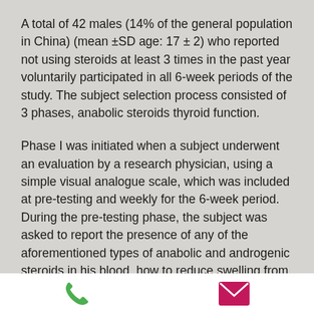A total of 42 males (14% of the general population in China) (mean ±SD age: 17 ± 2) who reported not using steroids at least 3 times in the past year voluntarily participated in all 6-week periods of the study. The subject selection process consisted of 3 phases, anabolic steroids thyroid function.
Phase I was initiated when a subject underwent an evaluation by a research physician, using a simple visual analogue scale, which was included at pre-testing and weekly for the 6-week period. During the pre-testing phase, the subject was asked to report the presence of any of the aforementioned types of anabolic and androgenic steroids in his blood, how to reduce swelling from steroids. The pre-
[Figure (other): Footer bar with a green phone icon on the left and a pink/magenta email envelope icon on the right]